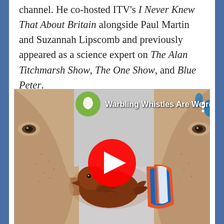channel. He co-hosted ITV's I Never Knew That About Britain alongside Paul Martin and Suzannah Lipscomb and previously appeared as a science expert on The Alan Titchmarsh Show, The One Show, and Blue Peter.
[Figure (screenshot): YouTube video thumbnail showing two men blowing into whistles (one a chocolate bird whistle, one a toothpaste-style whistle). Video title: 'Warbling Whistles Are Weird'. YouTube play button overlay visible. Green circular logo with flame/lightbulb icon in top left.]